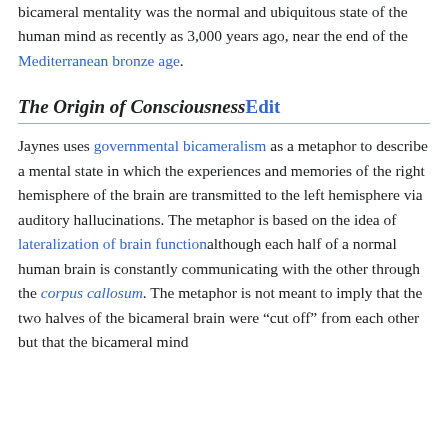bicameral mentality was the normal and ubiquitous state of the human mind as recently as 3,000 years ago, near the end of the Mediterranean bronze age.
The Origin of ConsciousnessEdit
Jaynes uses governmental bicameralism as a metaphor to describe a mental state in which the experiences and memories of the right hemisphere of the brain are transmitted to the left hemisphere via auditory hallucinations. The metaphor is based on the idea of lateralization of brain functionalthough each half of a normal human brain is constantly communicating with the other through the corpus callosum. The metaphor is not meant to imply that the two halves of the bicameral brain were “cut off” from each other but that the bicameral mind